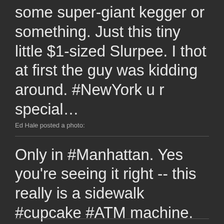some super-giant kegger or something. Just this tiny little $1-sized Slurpee. I thot at first the guy was kidding around. #NewYork u r special…
Ed Hale posted a photo:
Only in #Manhattan. Yes you're seeing it right -- this really is a sidewalk #cupcake #ATM machine. Just sitting there in case you want a cupcake any time of day or night.
Ed Hale posted a photo: